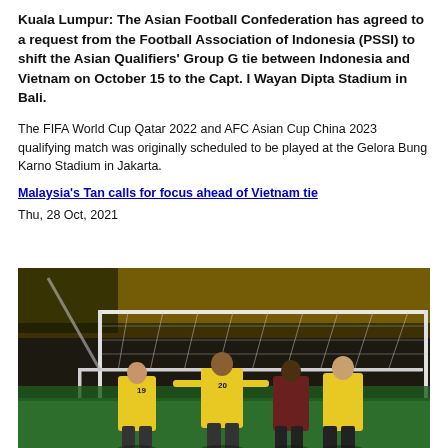Kuala Lumpur: The Asian Football Confederation has agreed to a request from the Football Association of Indonesia (PSSI) to shift the Asian Qualifiers' Group G tie between Indonesia and Vietnam on October 15 to the Capt. I Wayan Dipta Stadium in Bali.
The FIFA World Cup Qatar 2022 and AFC Asian Cup China 2023 qualifying match was originally scheduled to be played at the Gelora Bung Karno Stadium in Jakarta.
Malaysia's Tan calls for focus ahead of Vietnam tie
Thu, 28 Oct, 2021
[Figure (photo): Football players in yellow jerseys numbered 19 and 20 near a goal net on a football pitch with spectators in background]